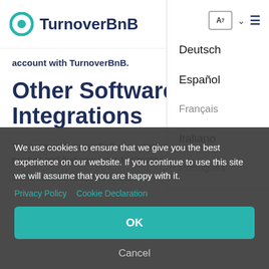TurnoverBnB
account with TurnoverBnB.
Other Software Integrations
The team at TurnoverBnB consistently aims to improve our product and find new ways to simplify vacation rental
[Figure (screenshot): Language dropdown menu showing options: Deutsch, Español, Français, Italiano, Português]
We use cookies to ensure that we give you the best experience on our website. If you continue to use this site we will assume that you are happy with it.
Privacy Policy  Cookie Declaration
OK
Cancel